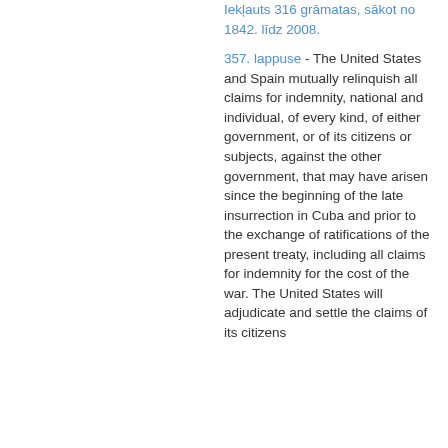Iekļauts 316 grāmatas, sākot no 1842. līdz 2008.
357. lappuse - The United States and Spain mutually relinquish all claims for indemnity, national and individual, of every kind, of either government, or of its citizens or subjects, against the other government, that may have arisen since the beginning of the late insurrection in Cuba and prior to the exchange of ratifications of the present treaty, including all claims for indemnity for the cost of the war. The United States will adjudicate and settle the claims of its citizens